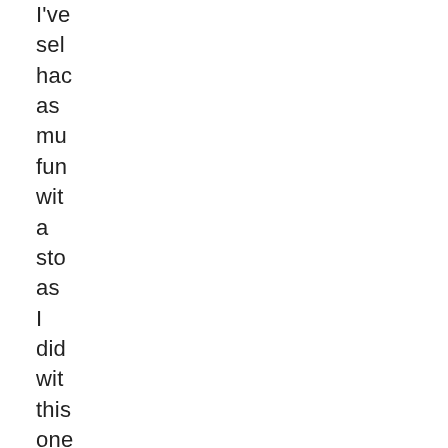I've sel hac as mu fun wit a sto as I did wit this one Wh Do anr it wa: brin bac the Da